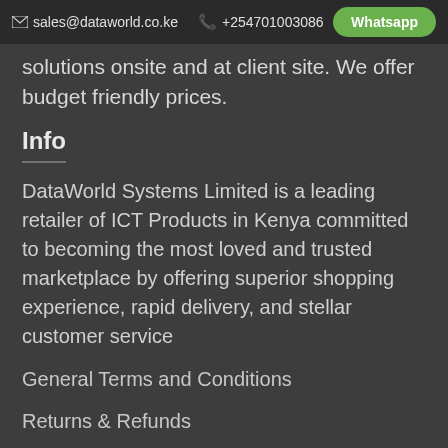sales@dataworld.co.ke  +254701003086  Whatsapp
solutions onsite and at client site. We offer budget friendly prices.
Info
DataWorld Systems Limited is a leading retailer of ICT Products in Kenya committed to becoming the most loved and trusted marketplace by offering superior shopping experience, rapid delivery, and stellar customer service
General Terms and Conditions
Returns & Refunds
Privacy & Cookie Notice